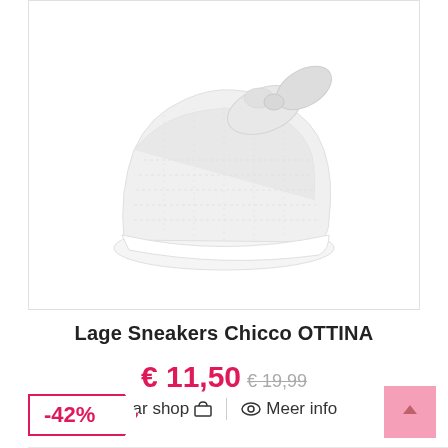[Figure (photo): White baby sneaker with bow/knot decoration on top, low cut shoe with white sole, on white background]
Lage Sneakers Chicco OTTINA
€ 11,50 €19,99
Naar shop 🛒 | 👁 Meer info
-42%